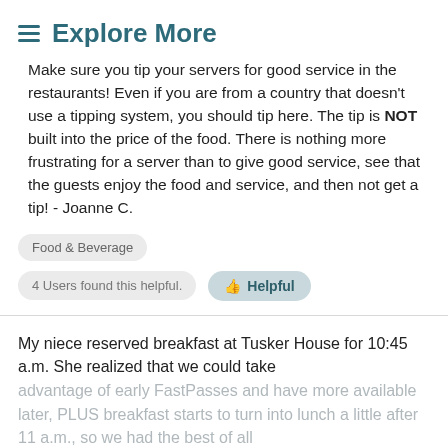≡ Explore More
Make sure you tip your servers for good service in the restaurants! Even if you are from a country that doesn't use a tipping system, you should tip here. The tip is NOT built into the price of the food. There is nothing more frustrating for a server than to give good service, see that the guests enjoy the food and service, and then not get a tip! - Joanne C.
Food & Beverage
4 Users found this helpful.   👍 Helpful
My niece reserved breakfast at Tusker House for 10:45 a.m. She realized that we could take advantage of early FastPasses and have more available later, PLUS breakfast starts to turn into lunch a little after 11 a.m., so we had the best of all...